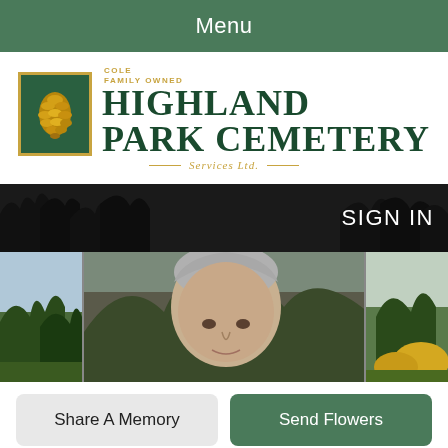Menu
[Figure (logo): Highland Park Cemetery logo with pine cone icon, 'Cole Family Owned' tagline, and 'Services Ltd.' subtitle in gold]
[Figure (photo): Cemetery website screenshot showing a banner with tree silhouettes, SIGN IN text, and a partial portrait photo of an elderly person with grey hair, flanked by tree/nature side panels]
Share A Memory
Send Flowers